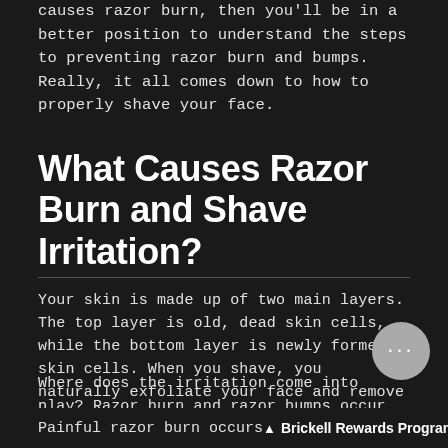causes razor burn, then you'll be in a better position to understand the steps to preventing razor burn and bumps. Really, it all comes down to how to properly shave your face.
What Causes Razor Burn and Shave Irritation?
Your skin is made up of two main layers. The top layer is old, dead skin cells, while the bottom layer is newly formed skin cells. When you shave, you naturally exfoliate your face and remove dead skin.
Where does the irritation come into play? Razor burn and razor bumps occur when you don't properly prepare your face before shaving. This leads to irritation in your newly formed skin.
Painful razor burn occurs
Brickell Rewards Program